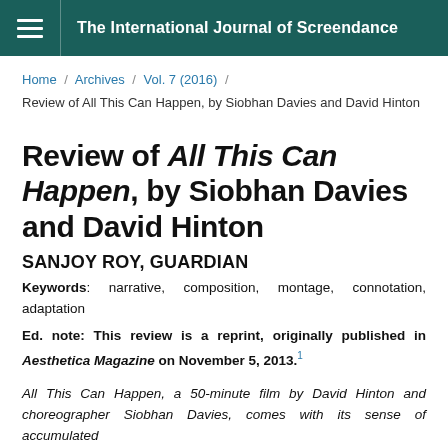The International Journal of Screendance
Home / Archives / Vol. 7 (2016) / Review of All This Can Happen, by Siobhan Davies and David Hinton
Review of All This Can Happen, by Siobhan Davies and David Hinton
SANJOY ROY, GUARDIAN
Keywords: narrative, composition, montage, connotation, adaptation
Ed. note: This review is a reprint, originally published in Aesthetica Magazine on November 5, 2013.1
All This Can Happen, a 50-minute film by David Hinton and choreographer Siobhan Davies…